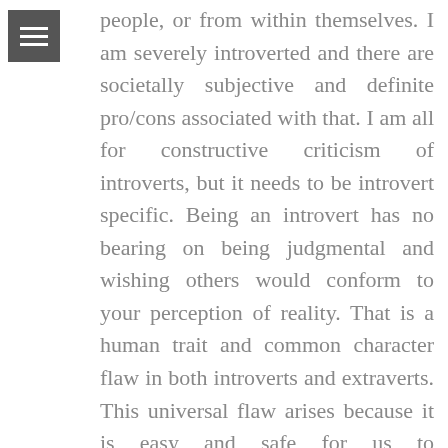people, or from within themselves. I am severely introverted and there are societally subjective and definite pro/cons associated with that. I am all for constructive criticism of introverts, but it needs to be introvert specific. Being an introvert has no bearing on being judgmental and wishing others would conform to your perception of reality. That is a human trait and common character flaw in both introverts and extraverts. This universal flaw arises because it is easy and safe for us to ridicule/reject that which we do not understand and/or fear. Also, I would like to make a side note. I have seen just as many extraverts falling into the pit of Facebook. I agree that introverts need flesh and blood